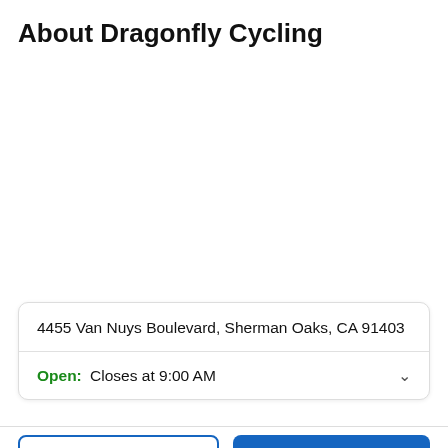About Dragonfly Cycling
4455 Van Nuys Boulevard, Sherman Oaks, CA 91403
Open: Closes at 9:00 AM
Add to Cart
Buy Now
Sale ends in: 15:20:45